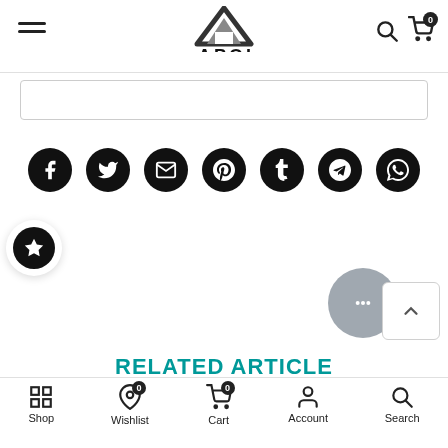[Figure (logo): APOL brand logo with triangular icon above the text APOL]
[Figure (screenshot): Search input box]
[Figure (infographic): Row of 7 social media share buttons: Facebook, Twitter, Email, Pinterest, Tumblr, Telegram, WhatsApp]
[Figure (infographic): Star/bookmark button on left side]
[Figure (infographic): Heart/like button on left side with carousel navigation arrows and dot grid]
[Figure (infographic): Chat bubble button and back-to-top arrow button]
RELATED ARTICLES
[Figure (infographic): Bottom navigation bar with Shop, Wishlist (badge 0), Cart (badge 0), Account, Search icons]